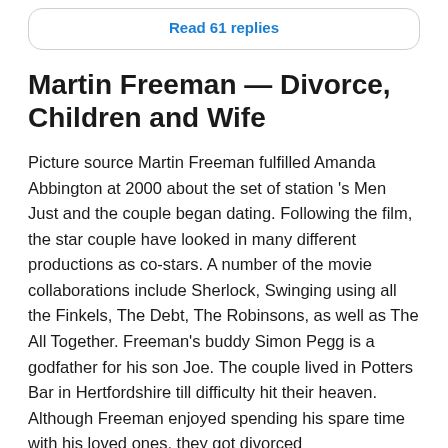Read 61 replies
Martin Freeman — Divorce, Children and Wife
Picture source Martin Freeman fulfilled Amanda Abbington at 2000 about the set of station 's Men Just and the couple began dating. Following the film, the star couple have looked in many different productions as co-stars. A number of the movie collaborations include Sherlock, Swinging using all the Finkels, The Debt, The Robinsons, as well as The All Together. Freeman's buddy Simon Pegg is a godfather for his son Joe. The couple lived in Potters Bar in Hertfordshire till difficulty hit their heaven. Although Freeman enjoyed spending his spare time with his loved ones, they got divorced